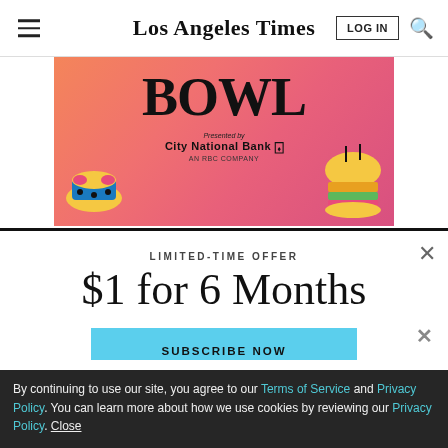Los Angeles Times
[Figure (photo): Los Angeles Times Food Bowl advertisement banner featuring stylized illustrations of food items and City National Bank branding on a pink/red gradient background. Text reads BOWL, Presented by CITY NATIONAL BANK AN RBC COMPANY.]
LIMITED-TIME OFFER
$1 for 6 Months
SUBSCRIBE NOW
By continuing to use our site, you agree to our Terms of Service and Privacy Policy. You can learn more about how we use cookies by reviewing our Privacy Policy. Close